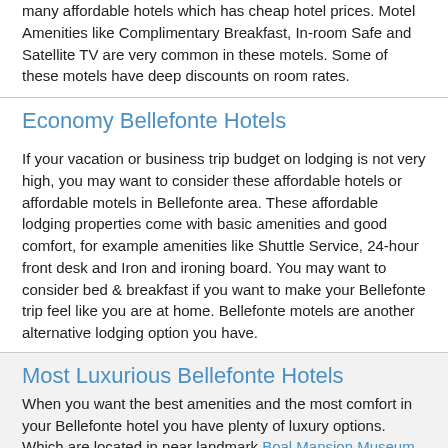many affordable hotels which has cheap hotel prices. Motel Amenities like Complimentary Breakfast, In-room Safe and Satellite TV are very common in these motels. Some of these motels have deep discounts on room rates.
Economy Bellefonte Hotels
If your vacation or business trip budget on lodging is not very high, you may want to consider these affordable hotels or affordable motels in Bellefonte area. These affordable lodging properties come with basic amenities and good comfort, for example amenities like Shuttle Service, 24-hour front desk and Iron and ironing board. You may want to consider bed & breakfast if you want to make your Bellefonte trip feel like you are at home. Bellefonte motels are another alternative lodging option you have.
Most Luxurious Bellefonte Hotels
When you want the best amenities and the most comfort in your Bellefonte hotel you have plenty of luxury options. Which are located in near landmark Boal Mansion Museum, Beaver Stadium and Big Spring Spirits. Most of these upscale boutique hotel choices are of 4 star and 5 star rating with guest rooms and suites with finest furnishings and decor. Often near tourist